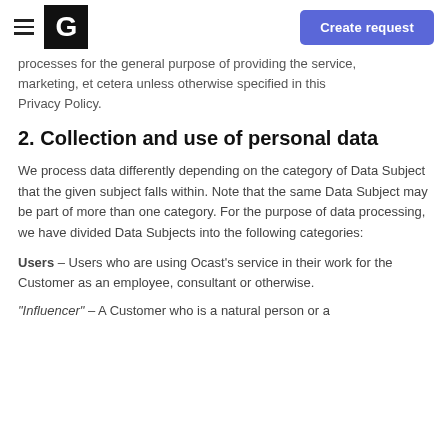G | Create request
processes for the general purpose of providing the service, marketing, et cetera unless otherwise specified in this Privacy Policy.
2. Collection and use of personal data
We process data differently depending on the category of Data Subject that the given subject falls within. Note that the same Data Subject may be part of more than one category. For the purpose of data processing, we have divided Data Subjects into the following categories:
Users – Users who are using Ocast's service in their work for the Customer as an employee, consultant or otherwise.
"Influencer" – A Customer who is a natural person or a